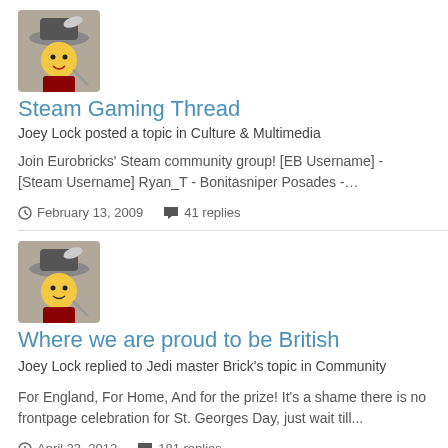[Figure (photo): Lego pirate avatar image]
Steam Gaming Thread
Joey Lock posted a topic in Culture & Multimedia
Join Eurobricks' Steam community group! [EB Username] - [Steam Username] Ryan_T - Bonitasniper Posades -…
February 13, 2009  41 replies
[Figure (photo): Lego pirate avatar image]
Where we are proud to be British
Joey Lock replied to Jedi master Brick's topic in Community
For England, For Home, And for the prize! It's a shame there is no frontpage celebration for St. Georges Day, just wait till...
April 23, 2012  181 replies